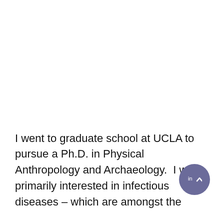I went to graduate school at UCLA to pursue a Ph.D. in Physical Anthropology and Archaeology.  I was primarily interested in infectious diseases – which are amongst the